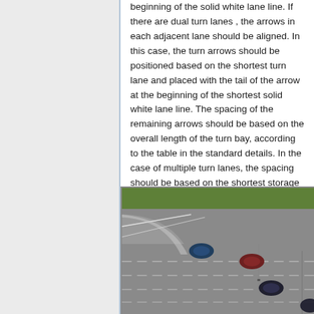beginning of the solid white lane line. If there are dual turn lanes , the arrows in each adjacent lane should be aligned. In this case, the turn arrows should be positioned based on the shortest turn lane and placed with the tail of the arrow at the beginning of the shortest solid white lane line. The spacing of the remaining arrows should be based on the overall length of the turn bay, according to the table in the standard details. In the case of multiple turn lanes, the spacing should be based on the shortest storage bay length.
[Figure (photo): Aerial photograph of a road intersection showing multiple vehicles including cars making turns. The image shows road markings, lane lines, and curbing viewed from above.]